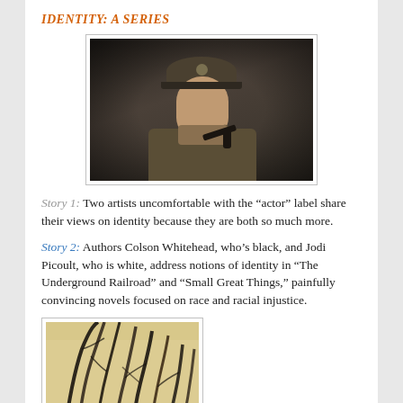IDENTITY: A SERIES
[Figure (photo): Man in military uniform and cap holding a gun, dramatic dark background]
Story 1: Two artists uncomfortable with the “actor” label share their views on identity because they are both so much more.
Story 2: Authors Colson Whitehead, who’s black, and Jodi Picoult, who is white, address notions of identity in “The Underground Railroad” and “Small Great Things,” painfully convincing novels focused on race and racial injustice.
[Figure (illustration): Abstract artwork showing dark branch-like forms against a light background]